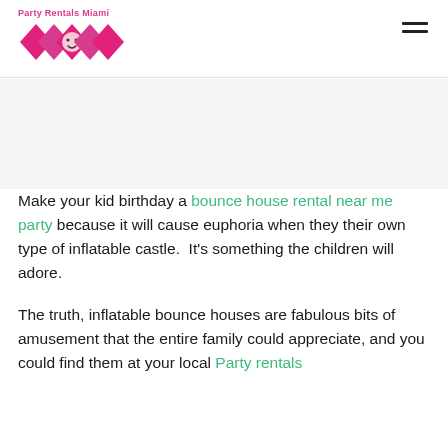Party Rentals Miami [logo]
[Figure (logo): Party Rentals Miami logo with pink/magenta diamond shapes and text 'Party Rentals Miami' above]
Make your kid birthday a bounce house rental near me party because it will cause euphoria when they their own type of inflatable castle.  It's something the children will adore.
The truth, inflatable bounce houses are fabulous bits of amusement that the entire family could appreciate, and you could find them at your local Party rentals